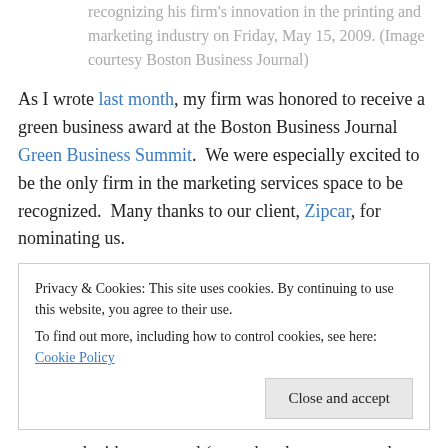recognizing his firm's innovation in the printing and marketing industry on Friday, May 15, 2009. (Image courtesy Boston Business Journal)
As I wrote last month, my firm was honored to receive a green business award at the Boston Business Journal Green Business Summit.  We were especially excited to be the only firm in the marketing services space to be recognized.  Many thanks to our client, Zipcar, for nominating us.
Privacy & Cookies: This site uses cookies. By continuing to use this website, you agree to their use. To find out more, including how to control cookies, see here: Cookie Policy
presented with our award (even the plaque was made with